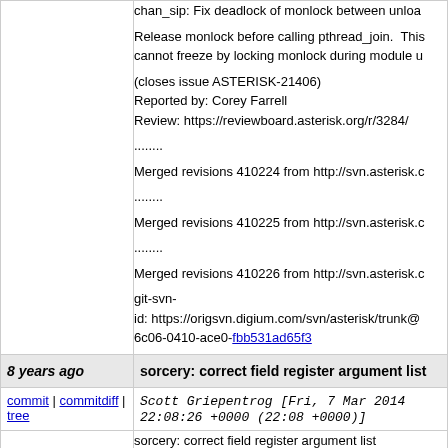chan_sip: Fix deadlock of monlock between unlo...

Release monlock before calling pthread_join. This cannot freeze by locking monlock during module u...

(closes issue ASTERISK-21406)
Reported by: Corey Farrell
Review: https://reviewboard.asterisk.org/r/3284/

........

Merged revisions 410224 from http://svn.asterisk.c...

........

Merged revisions 410225 from http://svn.asterisk.c...

........

Merged revisions 410226 from http://svn.asterisk.c...

git-svn-id: https://origsvn.digium.com/svn/asterisk/trunk@...6c06-0410-ace0-fbb531ad65f3
8 years ago
sorcery: correct field register argument list
commit | commitdiff | tree
Scott Griepentrog [Fri, 7 Mar 2014 22:08:26 +0000 (22:08 +0000)]
sorcery: correct field register argument list